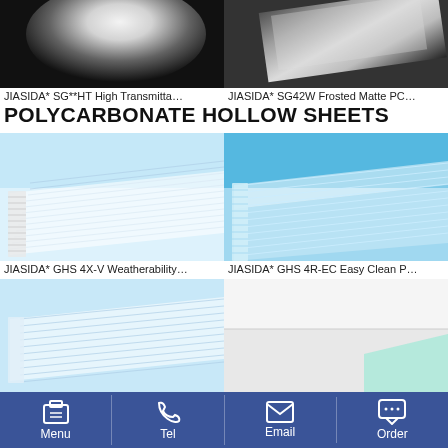[Figure (photo): Dark gradient product image left - high transmittance solid sheet]
[Figure (photo): Dark gradient product image right - frosted matte solid sheet]
JIASIDA* SG**HT High Transmitta…   JIASIDA* SG42W Frosted Matte PC…
POLYCARBONATE HOLLOW SHEETS
[Figure (photo): Blue background hollow polycarbonate sheet left - GHS 4X-V Weatherability]
[Figure (photo): Blue background hollow polycarbonate sheet right - GHS 4R-EC Easy Clean]
JIASIDA* GHS 4X-V Weatherability…   JIASIDA* GHS 4R-EC Easy Clean P…
[Figure (photo): Blue background hollow polycarbonate sheet bottom left]
[Figure (photo): Light pink/green bottom right hollow sheet]
Menu   Tel   Email   Order